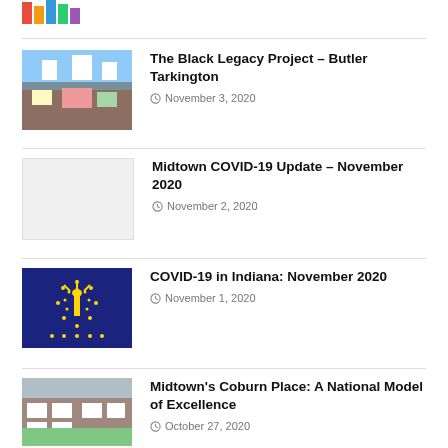[Figure (logo): Colorful logo at top left]
The Black Legacy Project – Butler Tarkington
November 3, 2020
Midtown COVID-19 Update – November 2020
November 2, 2020
COVID-19 in Indiana: November 2020
November 1, 2020
Midtown's Coburn Place: A National Model of Excellence
October 27, 2020